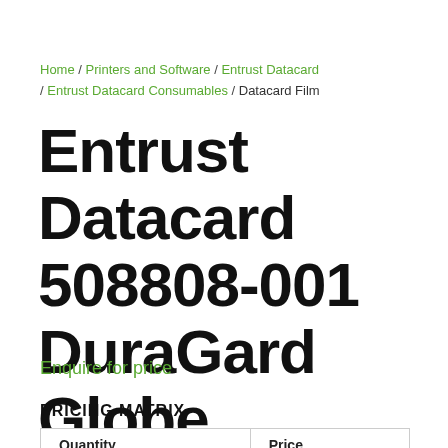Home / Printers and Software / Entrust Datacard / Entrust Datacard Consumables / Datacard Film
Entrust Datacard 508808-001 DuraGard Globe
Enquire for price
PRICING MATRIX
| Quantity | Price |
| --- | --- |